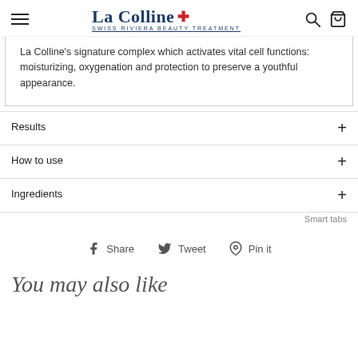La Colline — Swiss Riviera Beauty Treatment
La Colline's signature complex which activates vital cell functions: moisturizing, oxygenation and protection to preserve a youthful appearance.
Results
How to use
Ingredients
Smart tabs
Share   Tweet   Pin it
You may also like